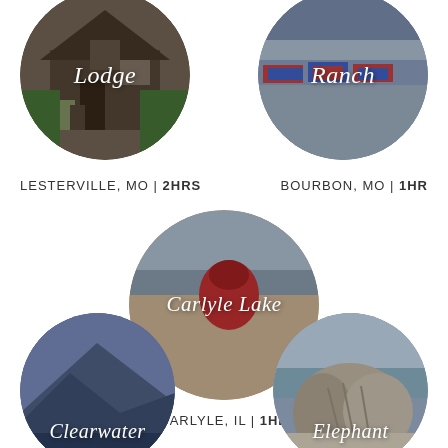[Figure (photo): Circular photo of a lodge building with trees, labeled 'Lodge']
[Figure (photo): Circular photo of colorful kayaks/canoes, labeled 'Ranch']
LESTERVILLE, MO | 2HRS
BOURBON, MO | 1HR
[Figure (photo): Circular photo of a beach scene with a person in red hat, labeled 'Carlyle Lake']
CARLYLE, IL | 1HR
[Figure (photo): Circular photo of mountains/hills at dusk, labeled 'Clearwater']
[Figure (photo): Circular photo of a rocky beach/rocks, labeled 'Elephant']